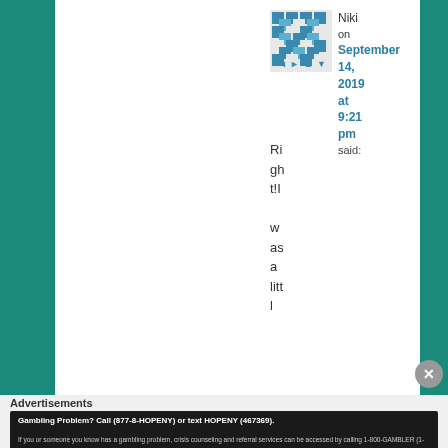Niki on September 14, 2019 at 9:21 pm said:
Right! I was a litt...
Advertisements
Gambling Problem? Call (877-8-HOPENY) or text HOPENY (467369). If you or someone you know has a gambling problem, crisis counseling and referral services can be accessed by calling 1-800-GAMBLER (1-800-426-2537) (IL/IN/MI/NJ/PA/WV/WY), 1-800-NEXT STEP (AZ), 1-800-522-4700 (CO/NH), 888-789-7777/visit ccpg.org/chat (CT), 1-800-BETS OFF (IA) 1-877-770-STOP (7867) (LA), visit OPGR.org (OR), call/text TN REDLINE 1-800-889-9789 (TN), or 1-888-532-3500 (VA).